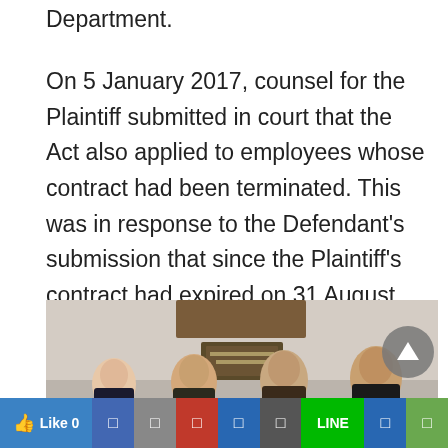Department.
On 5 January 2017, counsel for the Plaintiff submitted in court that the Act also applied to employees whose contract had been terminated. This was in response to the Defendant's submission that since the Plaintiff's contract had expired on 31 August 2016, the issue had thus become academic.
[Figure (photo): Group photo of four people (two women and two men) standing in front of a wall with a wooden board and a plaque, appearing to be in a courtroom or official building.]
Like 0 | social share buttons (Facebook, Twitter, Google+, LinkedIn, Email, LINE, Pinterest, other)